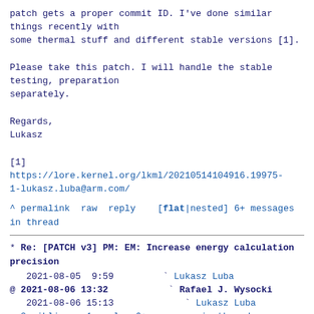patch gets a proper commit ID. I've done similar things recently with
some thermal stuff and different stable versions [1].

Please take this patch. I will handle the stable testing, preparation
separately.

Regards,
Lukasz

[1] https://lore.kernel.org/lkml/20210514104916.19975-1-lukasz.luba@arm.com/
^ permalink raw reply    [flat|nested] 6+ messages in thread
* Re: [PATCH v3] PM: EM: Increase energy calculation precision
2021-08-05  9:59         ` Lukasz Luba
@ 2021-08-06 13:32           ` Rafael J. Wysocki
   2021-08-06 15:13             ` Lukasz Luba
  0 siblings, 1 reply; 6+ messages in thread
From: Rafael J. Wysocki @ 2021-08-06 13:32 UTC
(permalink / raw)
  To: Lukasz Luba
  Cc: Rafael J. Wysocki, Linux Kernel Mailing List, Rafael J. Wysocki,
        Chris Redpath, Dietmar Eggemann, Morten